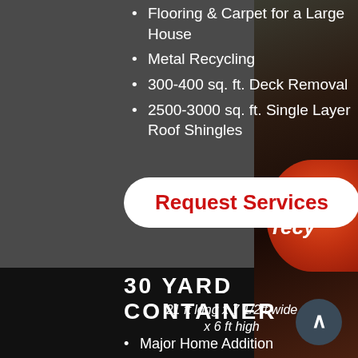Flooring & Carpet for a Large House
Metal Recycling
300-400 sq. ft. Deck Removal
2500-3000 sq. ft. Single Layer Roof Shingles
Request Services
30 YARD CONTAINER
21 ft long x 7 1/2ft wide x 6 ft high
Major Home Addition
Siding Replacement
Small House Demolition
Commercial Cleanout
Large Roof Shingle Removal